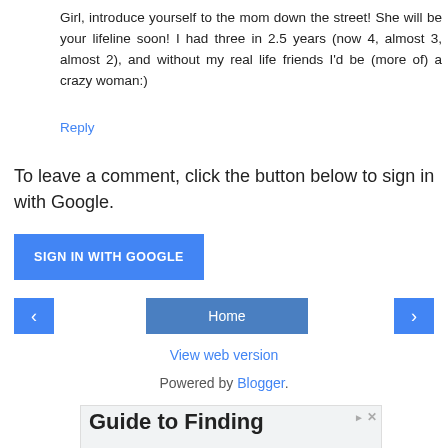Girl, introduce yourself to the mom down the street! She will be your lifeline soon! I had three in 2.5 years (now 4, almost 3, almost 2), and without my real life friends I'd be (more of) a crazy woman:)
Reply
To leave a comment, click the button below to sign in with Google.
SIGN IN WITH GOOGLE
‹
Home
›
View web version
Powered by Blogger.
[Figure (other): Advertisement banner: Guide to Finding...]